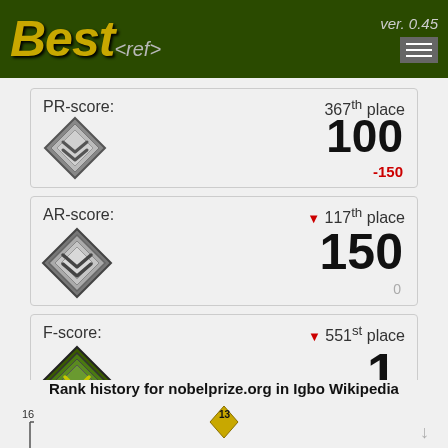[Figure (screenshot): BestRef website header with logo 'Best<ref>' and version 'ver. 0.45' and hamburger menu on dark green background]
PR-score: 367th place 100 -150
[Figure (illustration): Grey diamond badge with double chevron (rank badge)]
AR-score: ▼ 117th place 150 0
[Figure (illustration): Grey diamond badge with double chevron (rank badge)]
F-score: ▼ 551st place 1 0
[Figure (illustration): Green diamond badge with chevron (rank badge)]
Rank history for nobelprize.org in Igbo Wikipedia
[Figure (line-chart): Line chart showing rank history, y-axis shows 16, data point at 13 visible at top]